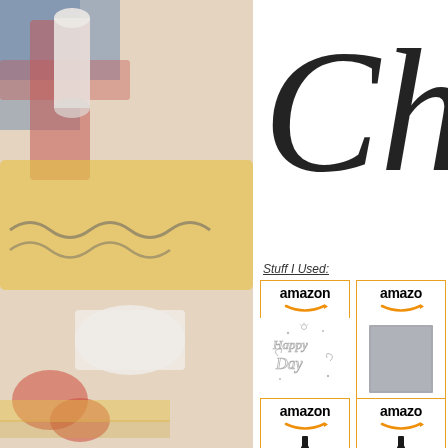[Figure (photo): Background photo of school/craft supplies including scissors, crayons, ruler, scissors, white paste, pencil sharpener on a colorful surface]
[Figure (illustration): Partial cursive script letter 'Ch' visible in top right corner, large black script font]
Stuff I Used:
[Figure (screenshot): Amazon product card for Spellbinders Tammy... priced at $22.09 with Shop now button, showing a Happy Day die cut stamp image]
[Figure (screenshot): Amazon product card for Bazzill SMOK... 12x12... priced at $17.99 with Shop now button, showing grey cardstock]
[Figure (screenshot): Amazon product card partially visible at bottom, showing amazon header and a dropper bottle]
[Figure (screenshot): Amazon product card partially visible at bottom, showing amazon header and a dropper bottle]